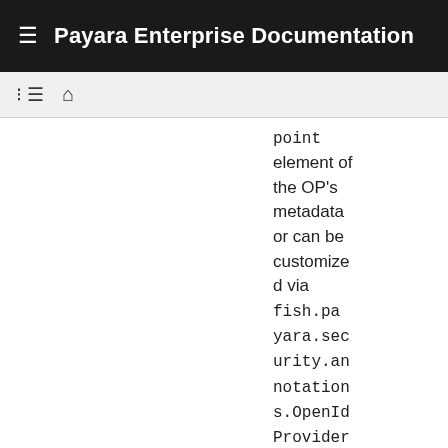Payara Enterprise Documentation
point element of the OP's metadata or can be customized via fish.payara.security.annotations.OpenIdProviderMetadata#endSessionEndpo